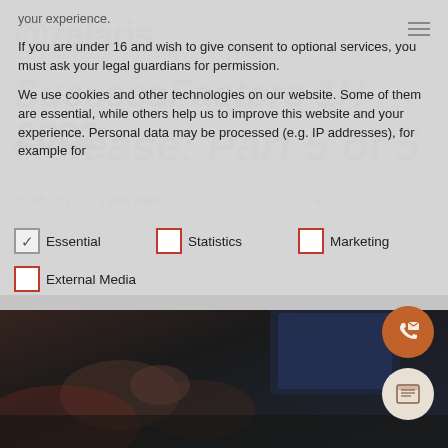your experience.
If you are under 16 and wish to give consent to optional services, you must ask your legal guardians for permission.
We use cookies and other technologies on our website. Some of them are essential, while others help us to improve this website and your experience. Personal data may be processed (e.g. IP addresses), for example for
Essential (checked)
Statistics
Marketing
External Media
SuccessFactors 1H 2022 Release: Part 5 of 5
20.05.2022 · 1 min read
[Figure (photo): People sitting at a table with hands gesturing in discussion, dark background, with laptop visible]